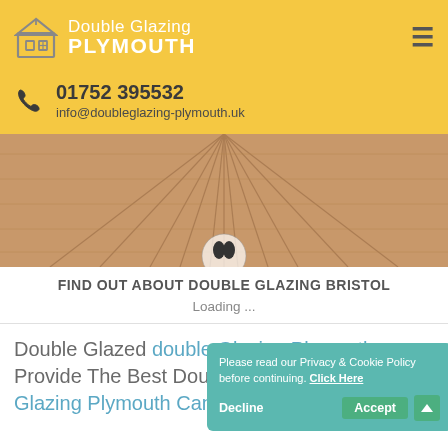Double Glazing PLYMOUTH
01752 395532
info@doubleglazing-plymouth.uk
[Figure (photo): Wooden decking planks viewed from above/perspective, forming the background of a video thumbnail with a play button overlay]
FIND OUT ABOUT DOUBLE GLAZING BRISTOL
Loading ...
Double Glazed double Glazing Plymouth Provide The Best Double Glazed double Glazing Plymouth Can Supply
Please read our Privacy & Cookie Policy before continuing. Click Here
Decline    Accept